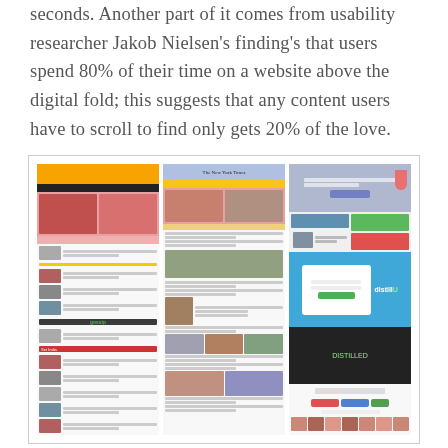seconds. Another part of it comes from usability researcher Jakob Nielsen's finding's that users spend 80% of their time on a website above the digital fold; this suggests that any content users have to scroll to find only gets 20% of the love.
[Figure (screenshot): Three website screenshots side by side: an ESPN-like sports news site, The New York Times homepage, and a modern web design portfolio site. The top portions are highlighted in pink/red to indicate content above the fold. The screenshots show full-length pages scrolled to reveal content below the fold.]